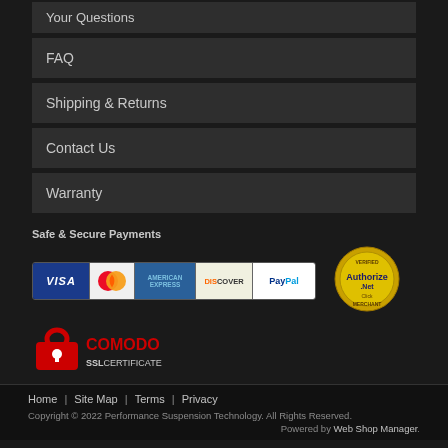FAQ
Shipping & Returns
Contact Us
Warranty
Safe & Secure Payments
[Figure (logo): Payment method logos: VISA, MasterCard, American Express, Discover, PayPal, Authorize.Net Verified Merchant badge]
[Figure (logo): Comodo SSL Certificate badge]
Home | Site Map | Terms | Privacy
Copyright © 2022 Performance Suspension Technology. All Rights Reserved.
Powered by Web Shop Manager.